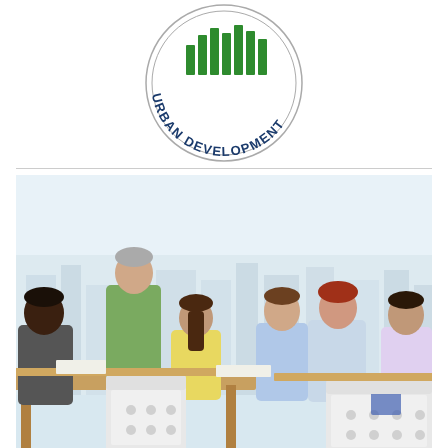[Figure (logo): HUD - U.S. Department of Housing and Urban Development circular logo with green bar-chart icon and dark blue text around the perimeter]
[Figure (photo): Group of diverse young adults and an older instructor/mentor sitting and standing around a table in a bright modern office setting with large windows and a city skyline visible in the background]